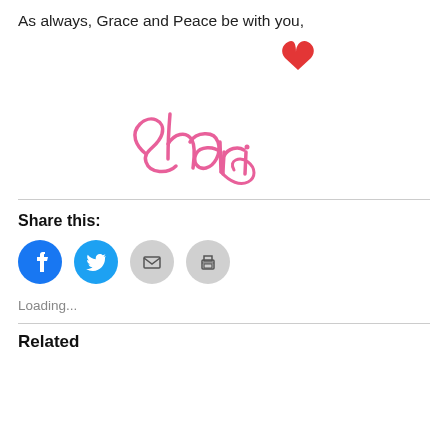As always, Grace and Peace be with you,
[Figure (illustration): Handwritten signature reading 'Shari' in pink cursive with a red heart above it]
Share this:
[Figure (infographic): Social sharing buttons: Facebook (blue circle), Twitter (blue circle), Email (gray circle), Print (gray circle)]
Loading...
Related